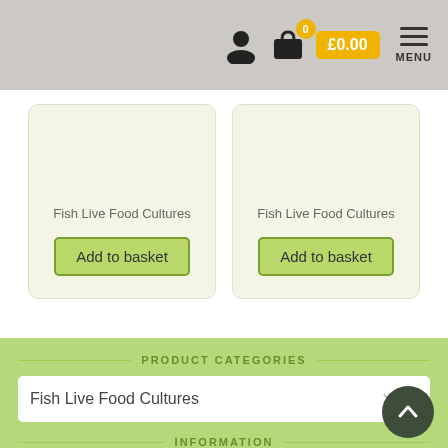£0.00 | MENU
Fish Live Food Cultures
Add to basket
Fish Live Food Cultures
Add to basket
PRODUCT CATEGORIES
Fish Live Food Cultures
INFORMATION
About Us